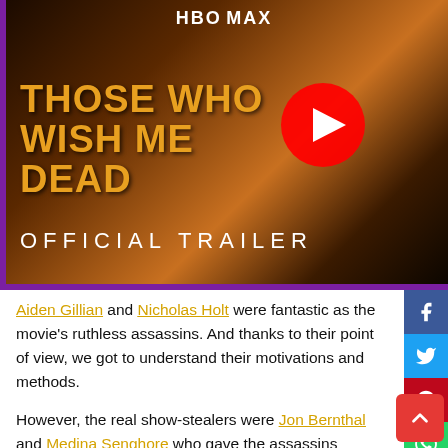[Figure (screenshot): YouTube video thumbnail for 'Those Who Wish Me Dead' Official Trailer on HBO Max. Shows a woman's face on a dark orange-tinted background with the movie title in gold text and a YouTube play button overlay.]
Aiden Gillian and Nicholas Holt were fantastic as the movie's ruthless assassins. And thanks to their point of view, we got to understand their motivations and methods.
However, the real show-stealers were Jon Bernthal and Medina Senghore who gave the assassins absolute hell as Alison and Ethan Sawyer.
Despite being pregnant, Alison was more than prepared to use her skills to protect her home and loved ones. And her